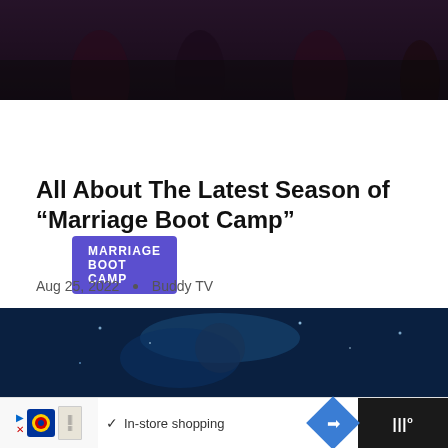[Figure (photo): Dark photo of people at top of the page, partially visible]
MARRIAGE BOOT CAMP
All About The Latest Season of “Marriage Boot Camp”
Aug 25, 2022 • Buddy TV
Relationships are a mixture of moments of bliss, happiness, tears, and …
[Figure (photo): Next article thumbnail: Mystery Ranch show logo circular image]
WHAT’S NEXT → Everything You Need to...
[Figure (photo): Bottom article image showing a person underwater with blue tones]
[Figure (screenshot): Advertisement bar at bottom: Lidl in-store shopping ad with blue diamond navigation icon]